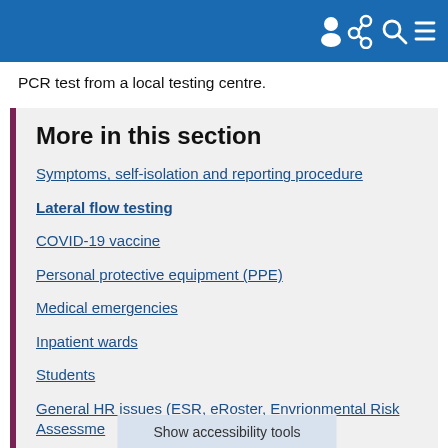PCR test from a local testing centre.
More in this section
Symptoms, self-isolation and reporting procedure
Lateral flow testing
COVID-19 vaccine
Personal protective equipment (PPE)
Medical emergencies
Inpatient wards
Students
General HR issues (ESR, eRoster, Envrionmental Risk Assessme
Show accessibility tools